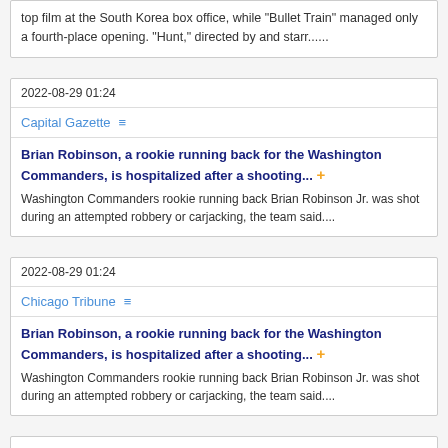top film at the South Korea box office, while 'Bullet Train' managed only a fourth-place opening. 'Hunt,' directed by and starr......
2022-08-29 01:24
Capital Gazette
Brian Robinson, a rookie running back for the Washington Commanders, is hospitalized after a shooting... +
Washington Commanders rookie running back Brian Robinson Jr. was shot during an attempted robbery or carjacking, the team said....
2022-08-29 01:24
Chicago Tribune
Brian Robinson, a rookie running back for the Washington Commanders, is hospitalized after a shooting... +
Washington Commanders rookie running back Brian Robinson Jr. was shot during an attempted robbery or carjacking, the team said....